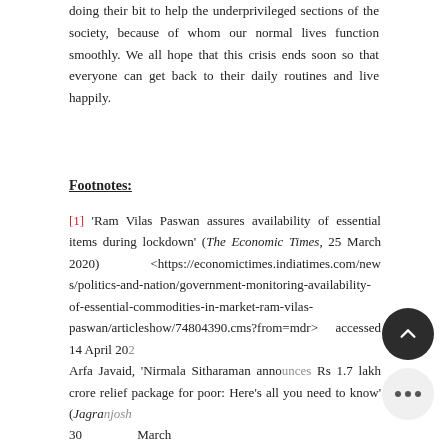doing their bit to help the underprivileged sections of the society, because of whom our normal lives function smoothly. We all hope that this crisis ends soon so that everyone can get back to their daily routines and live happily.
Footnotes:
[1] 'Ram Vilas Paswan assures availability of essential items during lockdown' (The Economic Times, 25 March 2020) <https://economictimes.indiatimes.com/news/politics-and-nation/government-monitoring-availability-of-essential-commodities-in-market-ram-vilas-paswan/articleshow/74804390.cms?from=mdr> accessed 14 April 20... Arfa Javaid, 'Nirmala Sitharaman announces Rs 1.7 lakh crore relief package for poor: Here's all you need to know' (Jagra... 30 March <https://www.jagranjosh.com/general-